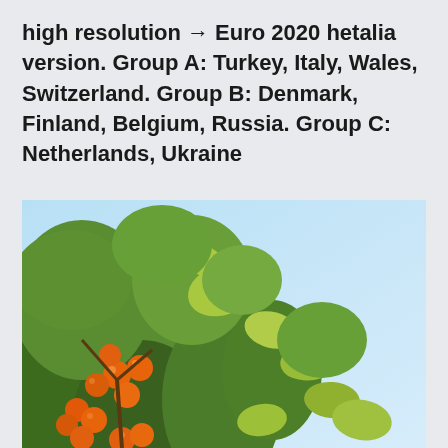high resolution → Euro 2020 hetalia version. Group A: Turkey, Italy, Wales, Switzerland. Group B: Denmark, Finland, Belgium, Russia. Group C: Netherlands, Ukraine
[Figure (photo): Orange tree with ripe oranges and green leaves photographed against a clear light blue sky]